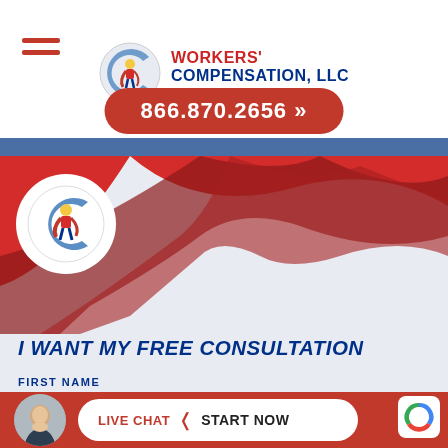[Figure (logo): Workers' Compensation LLC superhero logo with blue C and figure in cape]
WORKERS' COMPENSATION, LLC
WORKERS' COMP IS WHAT WE DO
866.870.2656 »
[Figure (illustration): Red hero area with white circle logo and red wave/cape shape on right]
I WANT MY FREE CONSULTATION
FIRST NAME
[Figure (photo): Portrait of man in suit, chat avatar]
LIVE CHAT  START NOW